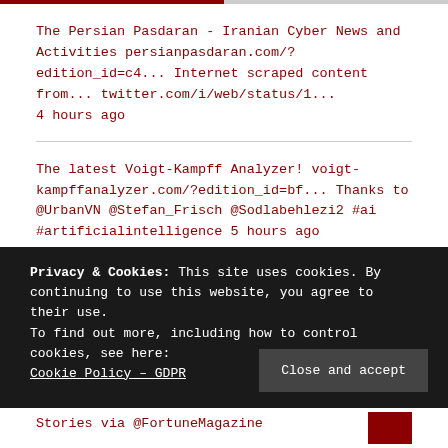The Persian Pasdaran - Iranian Cyber News and Activities persianpasdaran.com/?edition_id=c4... Internet scraped content from... twitter.com/i/web/status/1... 4 hours ago
The latest Voigt-Kampff Analyzer! voigt-kampffanalyzer.com/?edition_id=bf... Thanks to @UrbanVN @Stefan_Frisch @Sodlabehlezi2 #ai #artificialintelligence 5 hours ago
Privacy & Cookies: This site uses cookies. By continuing to use this website, you agree to their use.
To find out more, including how to control cookies, see here: Cookie Policy – GDPR
Close and accept
Stories via @FortuneMagazine